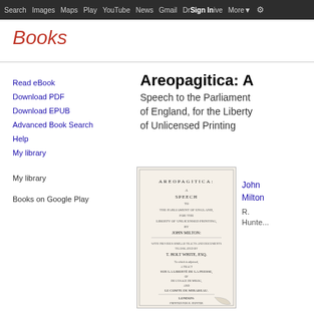Search  Images  Maps  Play  YouTube  News  Gmail  Drive  More  Sign In
Books
Read eBook
Download PDF
Download EPUB
Advanced Book Search
Help
My library
My library
Books on Google Play
Areopagitica: A Speech to the Parliament of England, for the Liberty of Unlicensed Printing
[Figure (photo): Scanned title page of Areopagitica by John Milton, showing old book cover with text: AREOPAGITICA: A SPEECH TO THE PARLIAMENT OF ENGLAND, FOR THE LIBERTY OF UNLICENSED PRINTING, BY JOHN MILTON; WITH PREVIOUS SIMILAR TRACTS AND DOCUMENTS TRANSLATED BY T. HOLT WHITE, ESQ. To which is adjoined, A TRACT SUR LA LIBERTE DE LA PRESSE, OF DE L'USAGE DE MILOG, AND LE COMTE DE MIRABEAU. LONDON: PRINTED FOR R. HUNTER, LONDON, 1819.]
John Milton
R. Hunter